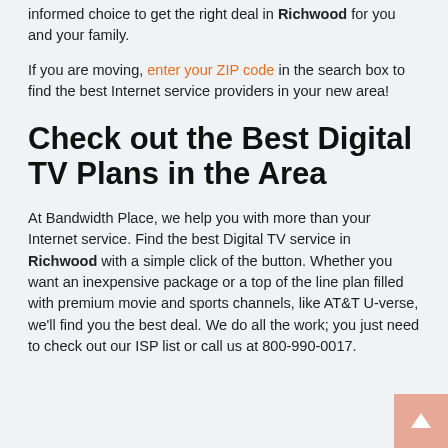informed choice to get the right deal in Richwood for you and your family.
If you are moving, enter your ZIP code in the search box to find the best Internet service providers in your new area!
Check out the Best Digital TV Plans in the Area
At Bandwidth Place, we help you with more than your Internet service. Find the best Digital TV service in Richwood with a simple click of the button. Whether you want an inexpensive package or a top of the line plan filled with premium movie and sports channels, like AT&T U-verse, we'll find you the best deal. We do all the work; you just need to check out our ISP list or call us at 800-990-0017.